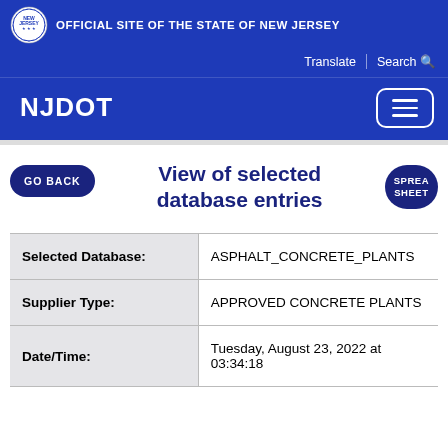OFFICIAL SITE OF THE STATE OF NEW JERSEY
Translate | Search
NJDOT
View of selected database entries
| Field | Value |
| --- | --- |
| Selected Database: | ASPHALT_CONCRETE_PLANTS |
| Supplier Type: | APPROVED CONCRETE PLANTS |
| Date/Time: | Tuesday, August 23, 2022 at 03:34:18 |